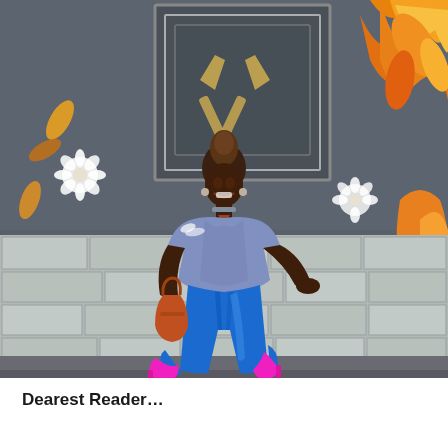[Figure (photo): A smiling woman with hair in an updo, wearing a lavender/blue fitted short-sleeve top, bright blue skinny jeans, carrying an orange handbag, and wearing bright pink/magenta heels. She is posing playfully in front of a grey wall decorated with a mural featuring orange flames and white flowers, and a framed geometric/architectural panel on the wall behind her.]
Dearest Reader…